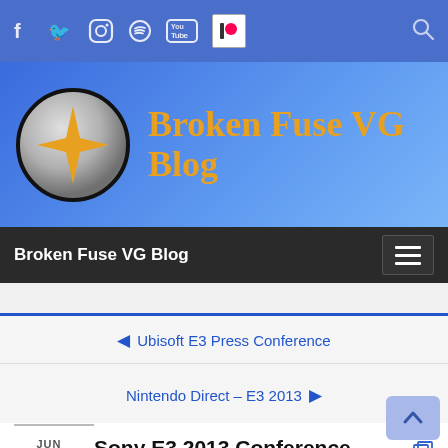Social bar with Facebook, Twitter, Instagram, Spotify, YouTube, Patreon icons and search icon
Broken Fuse VG Blog
Broken Fuse VG Blog — navigation bar with hamburger menu
← Ubisoft E3 Press Conference
Nintendo Direct – E3 2013 →
JUN 10 2013 — Sony E3 2013 Conference — By Markus Lai in E3, Events, PS Vita, PS3, PS4, Sony
[Figure (screenshot): Bottom portion of a video/image showing a red shape on black background]